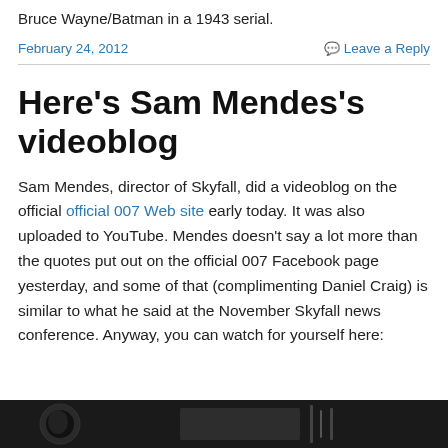Bruce Wayne/Batman in a 1943 serial.
February 24, 2012
Leave a Reply
Here's Sam Mendes's videoblog
Sam Mendes, director of Skyfall, did a videoblog on the official official 007 Web site early today. It was also uploaded to YouTube. Mendes doesn't say a lot more than the quotes put out on the official 007 Facebook page yesterday, and some of that (complimenting Daniel Craig) is similar to what he said at the November Skyfall news conference. Anyway, you can watch for yourself here:
[Figure (photo): Partial bottom of page screenshot showing a dark video thumbnail]